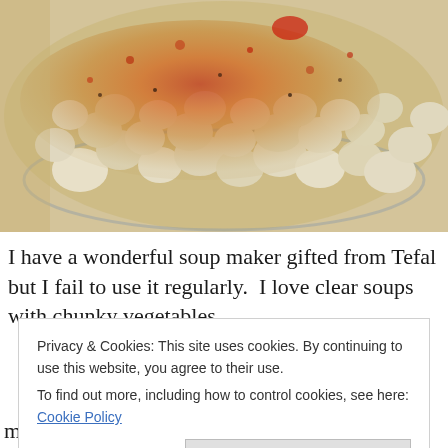[Figure (photo): Close-up photo of a bowl of popcorn or cauliflower-like food heavily dusted with orange-red spice/seasoning, in a glass bowl]
I have a wonderful soup maker gifted from Tefal but I fail to use it regularly.  I love clear soups with chunky vegetables
Privacy & Cookies: This site uses cookies. By continuing to use this website, you agree to their use.
To find out more, including how to control cookies, see here: Cookie Policy
Close and accept
maker machine but it can be cooked all in a saucepan as